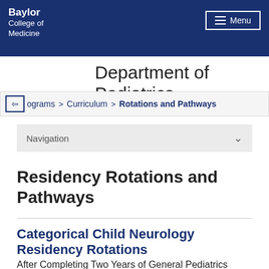Baylor College of Medicine
Department of Pediatrics
Programs > Curriculum > Rotations and Pathways
Navigation
Residency Rotations and Pathways
Categorical Child Neurology Residency Rotations
After Completing Two Years of General Pediatrics